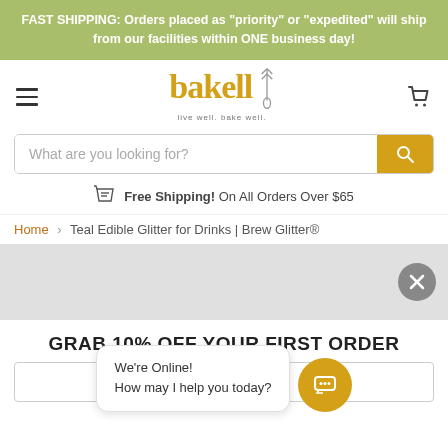FAST SHIPPING: Orders placed as "priority" or "expedited" will ship from our facilities within ONE business day!
[Figure (logo): Bakell logo with tagline 'live well. bake well.' and whisk icon]
What are you looking for?
Free Shipping! On All Orders Over $65
Home > Teal Edible Glitter for Drinks | Brew Glitter®
[Figure (screenshot): Light gray image band with an X close button on the right]
GRAB 10% OFF YOUR FIRST ORDER
We're Online!
How may I help you today?